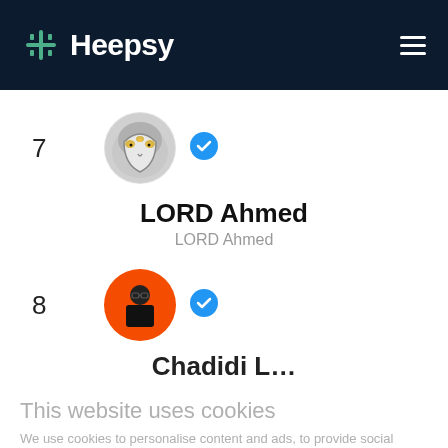Heepsy
7
[Figure (illustration): Circular avatar of LORD Ahmed: stylized masked face with gold markings on dark background]
[Figure (illustration): Blue verified checkmark badge]
LORD Ahmed
LORD Ahmed
8
[Figure (illustration): Circular avatar on orange background showing a person in black t-shirt]
[Figure (illustration): Blue verified checkmark badge]
Chadidi L...
This website uses cookies
We use cookies to personalise content and ads, to provide social media features and to analyse our traffic. We also